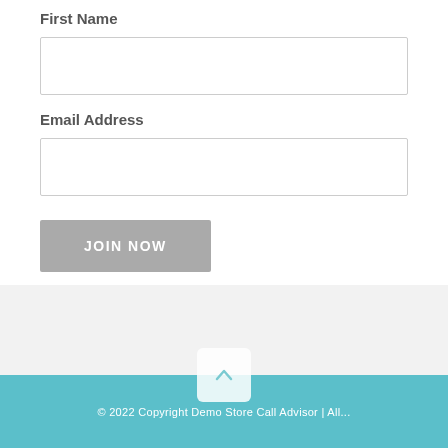First Name
[Figure (screenshot): Empty text input field for First Name]
Email Address
[Figure (screenshot): Empty text input field for Email Address]
[Figure (other): JOIN NOW button, gray background with white uppercase text]
[Figure (other): Back to top button — white rounded square with upward chevron icon, on teal background]
© 2022 Copyright Demo Store Call Advisor | All...